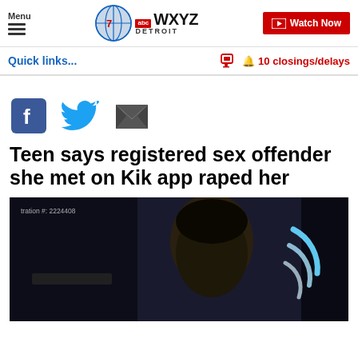Menu | WXYZ abc DETROIT | Watch Now
Quick links...
10 closings/delays
[Figure (other): Social share icons: Facebook, Twitter, Email]
Teen says registered sex offender she met on Kik app raped her
[Figure (photo): Dark photo of a man's face, partially obscured, with a loading spinner graphic. Text overlay reads: tration #: 2224408]